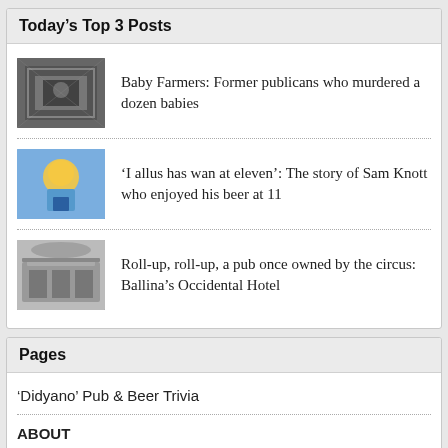Today's Top 3 Posts
Baby Farmers: Former publicans who murdered a dozen babies
'I allus has wan at eleven': The story of Sam Knott who enjoyed his beer at 11
Roll-up, roll-up, a pub once owned by the circus: Ballina's Occidental Hotel
Pages
'Didyano' Pub & Beer Trivia
ABOUT
Cart
Checkout
Gift Shop: Sister Pubs